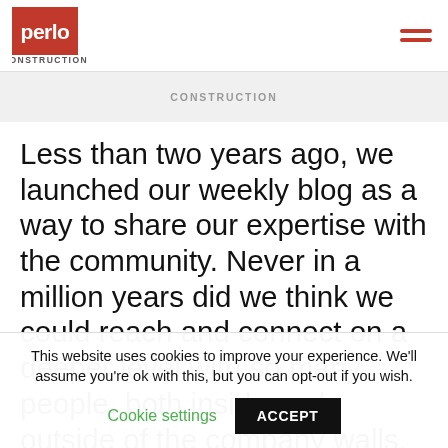perlo CONSTRUCTION
[Figure (logo): Perlo Construction logo - red square with white 'perlo' text, 'CONSTRUCTION' in grey below]
CONSTRUCTION
Less than two years ago, we launched our weekly blog as a way to share our expertise with the community. Never in a million years did we think we could reach and connect on a deeper level with so many people, both inside and outside of the company walls. We asked ourselves, what more could we do? If you know us, you know that we are
This website uses cookies to improve your experience. We'll assume you're ok with this, but you can opt-out if you wish.
Cookie settings
ACCEPT